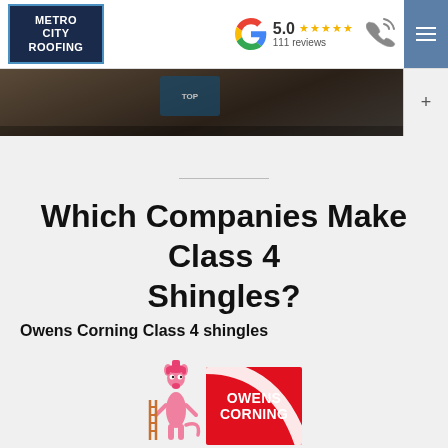METRO CITY ROOFING | 5.0 ★★★★★ 111 reviews
[Figure (photo): Roofing job site hero image strip showing workers on a dark roof]
Which Companies Make Class 4 Shingles?
Owens Corning Class 4 shingles
[Figure (logo): Owens Corning logo with Pink Panther mascot — red rectangle with OWENS CORNING text and white arc, Pink Panther cartoon character beside it]